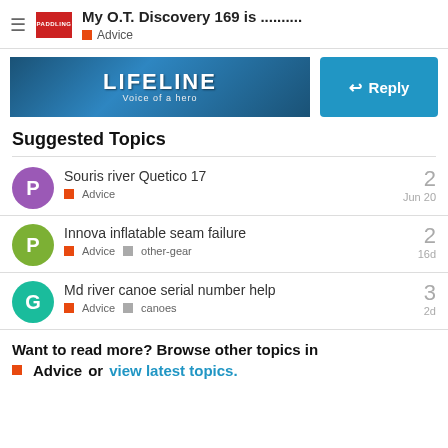My O.T. Discovery 169 is .......... Advice
[Figure (screenshot): Lifeline advertisement banner with text 'LIFELINE Voice of a hero' and a Reply button]
Suggested Topics
Souris river Quetico 17 | Advice | 2 | Jun 20
Innova inflatable seam failure | Advice | other-gear | 2 | 16d
Md river canoe serial number help | Advice | canoes | 3 | 2d
Want to read more? Browse other topics in Advice or view latest topics.